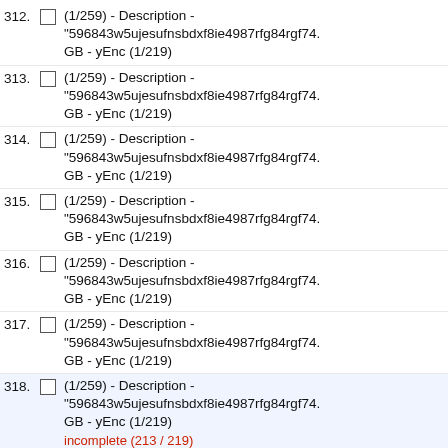312. (1/259) - Description - "596843w5ujesufnsbdxf8ie4987rfg84rgf74. GB - yEnc (1/219)
313. (1/259) - Description - "596843w5ujesufnsbdxf8ie4987rfg84rgf74. GB - yEnc (1/219)
314. (1/259) - Description - "596843w5ujesufnsbdxf8ie4987rfg84rgf74. GB - yEnc (1/219)
315. (1/259) - Description - "596843w5ujesufnsbdxf8ie4987rfg84rgf74. GB - yEnc (1/219)
316. (1/259) - Description - "596843w5ujesufnsbdxf8ie4987rfg84rgf74. GB - yEnc (1/219)
317. (1/259) - Description - "596843w5ujesufnsbdxf8ie4987rfg84rgf74. GB - yEnc (1/219)
318. (1/259) - Description - "596843w5ujesufnsbdxf8ie4987rfg84rgf74. GB - yEnc (1/219) incomplete (213 / 219)
319. (1/259) - Description - "596843w5ujesufnsbdxf8ie4987rfg84rgf74. GB - yEnc (1/219) incomplete (218 / 219)
320. (1/259) - Description - "596843w5ujesufnsbdxf8ie4987rfg84rgf74. GB - yEnc (1/219)
321. (1/259) - Description - "596843w5ujesufnsbdxf8ie4987rfg84rgf74. GB - yEnc (1/219) incomplete (218 / 219)
322. (1/259) - Description - "596843w5ujesufnsbdxf8ie4987rfg84rgf74. GB - yEnc (1/219) incomplete (215 / 219)
323. (1/259) - Description - "596843w5ujesufnsbdxf8ie4987rfg84rgf74. GB - yEnc (1/219)